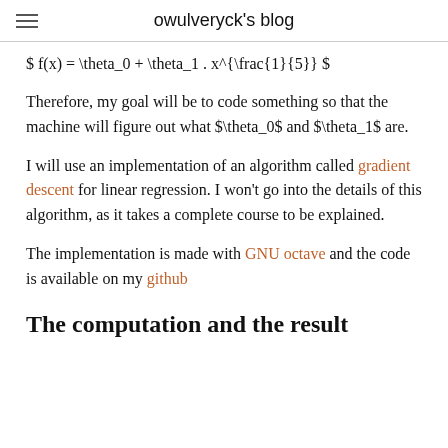owulveryck's blog
Therefore, my goal will be to code something so that the machine will figure out what $\theta_0$ and $\theta_1$ are.
I will use an implementation of an algorithm called gradient descent for linear regression. I won't go into the details of this algorithm, as it takes a complete course to be explained.
The implementation is made with GNU octave and the code is available on my github
The computation and the result